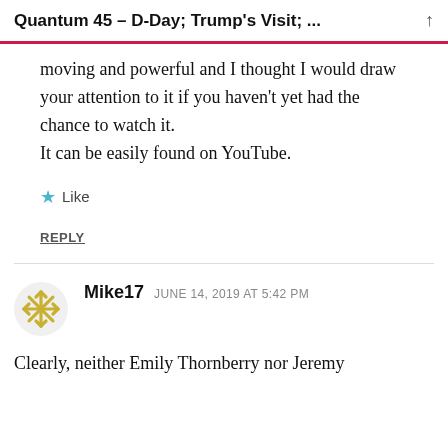Quantum 45 – D-Day; Trump's Visit; ...
moving and powerful and I thought I would draw your attention to it if you haven't yet had the chance to watch it.
It can be easily found on YouTube.
Like
REPLY
Mike17  JUNE 14, 2019 AT 5:42 PM
Clearly, neither Emily Thornberry nor Jeremy